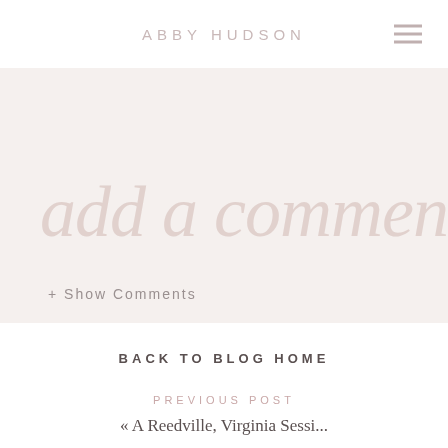ABBY HUDSON
[Figure (other): Decorative script text reading 'add a comment' in large cursive pink watermark style]
+ Show Comments
BACK TO BLOG HOME
PREVIOUS POST
« A Reedville, Virginia Sessi...